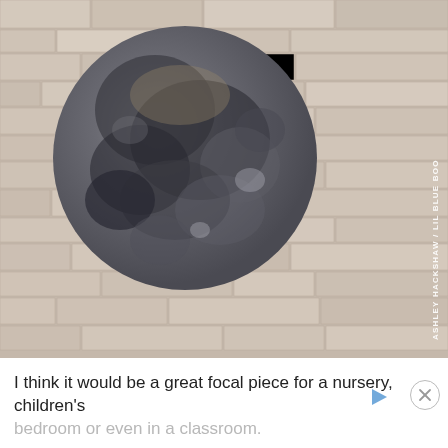[Figure (photo): A circular moon-like decorative object (painted or printed disc showing moon surface with dark craters and grey tones) mounted against a stone/brick wall background. Watermark text reads 'ASHLEY HACKSHAW / LIL BLUE BOO' vertically on the right side.]
I think it would be a great focal piece for a nursery, children's bedroom or even in a classroom.